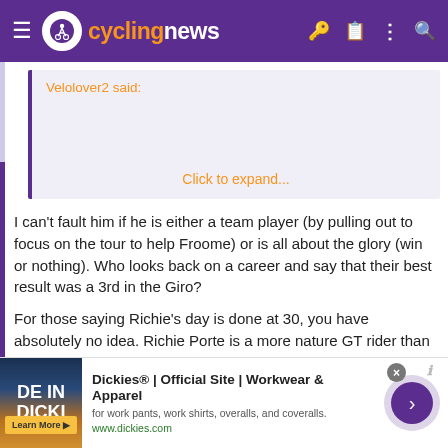cyclingnews
Velolover2 said:
Click to expand...
I can't fault him if he is either a team player (by pulling out to focus on the tour to help Froome) or is all about the glory (win or nothing). Who looks back on a career and say that their best result was a 3rd in the Giro?
For those saying Richie's day is done at 30, you have absolutely no idea. Richie Porte is a more nature GT rider than Cadel and he won the tour when he was 35. Still plenty of time for Porte, especially with the uncertainty that the world of cycling brings.
[Figure (infographic): Dickies advertisement banner showing 'DE IN DICKI' text on a dark background image, with 'Dickies® | Official Site | Workwear & Apparel' title, subtitle 'for work pants, work shirts, overalls, and coveralls.', URL www.dickies.com, and a purple arrow button]